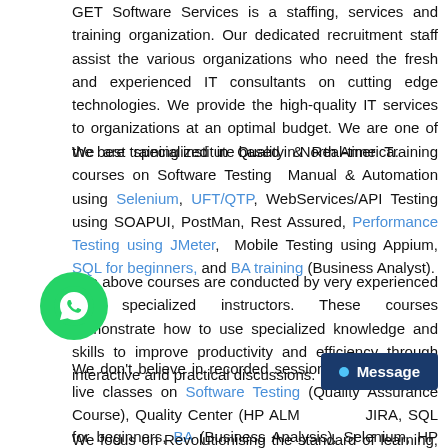GET Software Services is a staffing, services and training organization. Our dedicated recruitment staff assist the various organizations who need the fresh and experienced IT consultants on cutting edge technologies. We provide the high-quality IT services to organizations at an optimal budget. We are one of the best training institute based in North America.
We are specialized in Quality & Real-time Training courses on Software Testing Manual & Automation using Selenium, UFT/QTP, WebServices/API Testing using SOAPUI, PostMan, Rest Assured, Performance Testing using JMeter, Mobile Testing using Appium, SQL for beginners, and BA training (Business Analyst).
The above courses are conducted by very experienced and specialized instructors. These courses demonstrate how to use specialized knowledge and skills to improve productivity and efficiency through interactive and practical discussions.
We don't believe in recorded session and offer online live classes on Software Testing (Quality Assurance Course), Quality Center (HP ALM Qu...JIRA, SQL for beginners, BA (Business Analysis), Selenium, HP ...P Training, WebServices/API Testing, SOAPUI, Postman, Rest ...e, Jmeter, LoadRunner and Appium.
We focus on Revolutionising the standard of learning, addressing on-